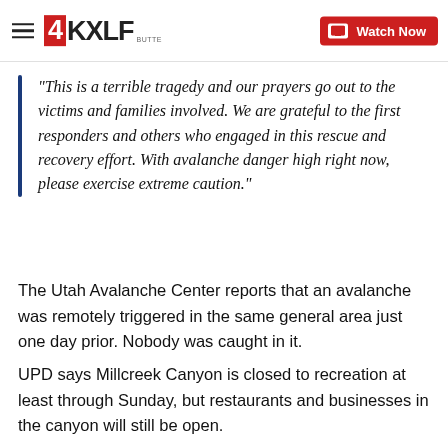4KXLF BUTTE | Watch Now
"This is a terrible tragedy and our prayers go out to the victims and families involved. We are grateful to the first responders and others who engaged in this rescue and recovery effort. With avalanche danger high right now, please exercise extreme caution."
The Utah Avalanche Center reports that an avalanche was remotely triggered in the same general area just one day prior. Nobody was caught in it.
UPD says Millcreek Canyon is closed to recreation at least through Sunday, but restaurants and businesses in the canyon will still be open.